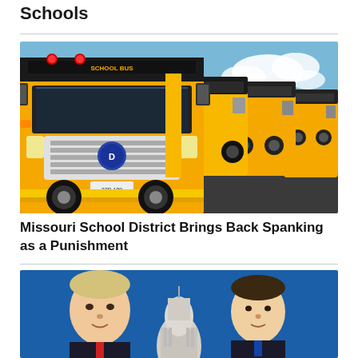Schools
[Figure (photo): A row of yellow school buses lined up in a parking lot, front view, sunny day with blue sky and clouds.]
Missouri School District Brings Back Spanking as a Punishment
[Figure (photo): Two men against a blue background with the US Capitol building visible between them.]